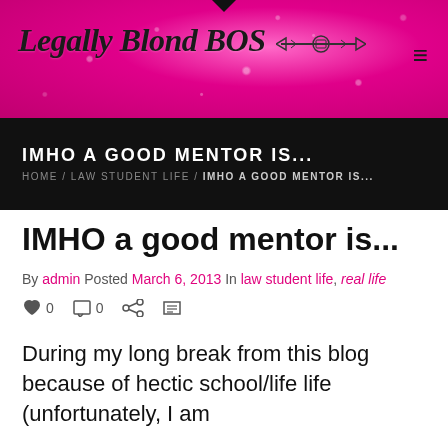Legally Blond BOS
IMHO A GOOD MENTOR IS...
HOME / LAW STUDENT LIFE / IMHO A GOOD MENTOR IS...
IMHO a good mentor is...
By admin Posted March 6, 2013 In law student life, real life
♥ 0   □ 0   < share   print
During my long break from this blog because of hectic school/life life (unfortunately, I am